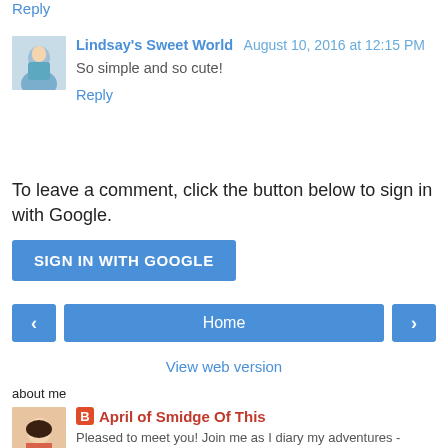Reply
Lindsay's Sweet World  August 10, 2016 at 12:15 PM
So simple and so cute!
Reply
To leave a comment, click the button below to sign in with Google.
SIGN IN WITH GOOGLE
Home
View web version
about me
April of Smidge Of This
Pleased to meet you! Join me as I diary my adventures - crafting, cooking, jewelry making, shopping, traveling,